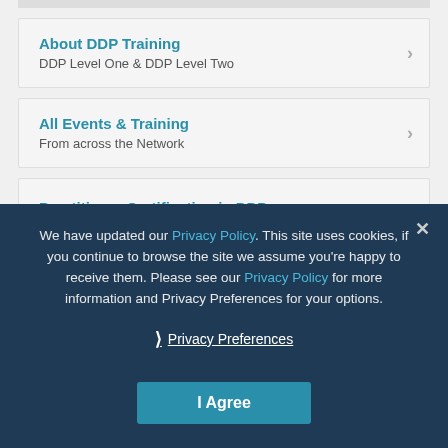About DDP Training — DDP Level One & DDP Level Two
All Events & Training — From across the Network
Practitioner Certification in DDP
All DDP Resources
We have updated our Privacy Policy. This site uses cookies, if you continue to browse the site we assume you're happy to receive them. Please see our Privacy Policy for more information and Privacy Preferences for your options.
Privacy Preferences
I Agree